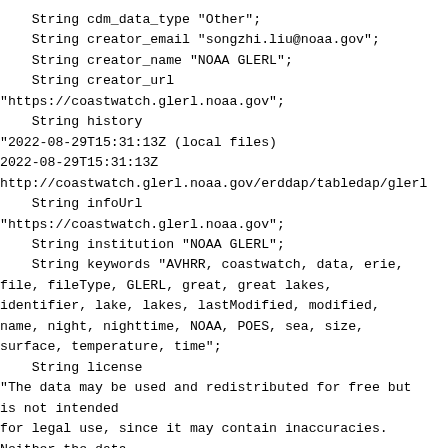String cdm_data_type "Other";
    String creator_email "songzhi.liu@noaa.gov";
    String creator_name "NOAA GLERL";
    String creator_url
"https://coastwatch.glerl.noaa.gov";
    String history
"2022-08-29T15:31:13Z (local files)
2022-08-29T15:31:13Z
http://coastwatch.glerl.noaa.gov/erddap/tabledap/glerl
    String infoUrl
"https://coastwatch.glerl.noaa.gov";
    String institution "NOAA GLERL";
    String keywords "AVHRR, coastwatch, data, erie,
file, fileType, GLERL, great, great lakes,
identifier, lake, lakes, lastModified, modified,
name, night, nighttime, NOAA, POES, sea, size,
surface, temperature, time";
    String license
"The data may be used and redistributed for free but
is not intended
for legal use, since it may contain inaccuracies.
Neither the data
Contributor, ERD, NOAA, nor the United States
Government, nor any
of their employees or contractors, makes any